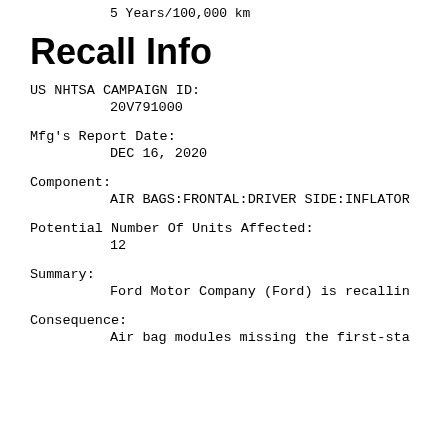5 Years/100,000 km
Recall Info
US NHTSA CAMPAIGN ID:
20V791000
Mfg's Report Date:
DEC 16, 2020
Component:
AIR BAGS:FRONTAL:DRIVER SIDE:INFLATOR
Potential Number Of Units Affected:
12
Summary:
Ford Motor Company (Ford) is recallin
Consequence:
Air bag modules missing the first-sta